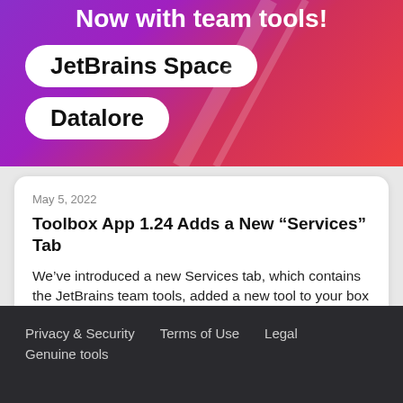[Figure (illustration): Colorful purple-to-red gradient banner with white pill badges reading 'JetBrains Space' and 'Datalore', with text 'Now with team tools!' at top]
May 5, 2022
Toolbox App 1.24 Adds a New “Services” Tab
We’ve introduced a new Services tab, which contains the JetBrains team tools, added a new tool to your box – JetBrains Space, and released…
Aleksei Dievskii   2
Privacy & Security   Terms of Use   Legal   Genuine tools